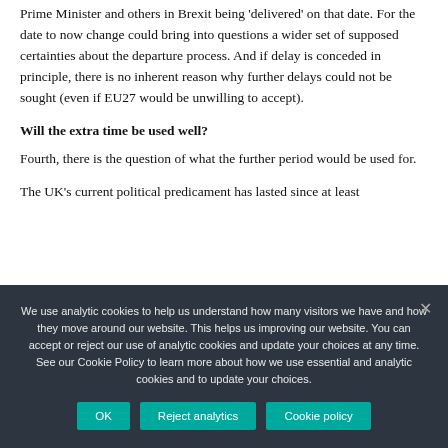Prime Minister and others in Brexit being 'delivered' on that date. For the date to now change could bring into questions a wider set of supposed certainties about the departure process. And if delay is conceded in principle, there is no inherent reason why further delays could not be sought (even if EU27 would be unwilling to accept).
Will the extra time be used well?
Fourth, there is the question of what the further period would be used for.
The UK's current political predicament has lasted since at least
We use analytic cookies to help us understand how many visitors we have and how they move around our website. This helps us improving our website. You can accept or reject our use of analytic cookies and update your choices at any time. See our Cookie Policy to learn more about how we use essential and analytic cookies and to update your choices.